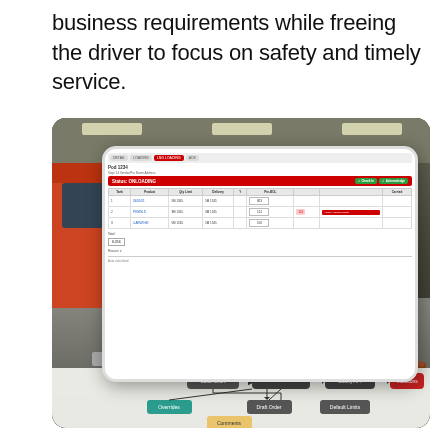business requirements while freeing the driver to focus on safety and timely service.
[Figure (photo): A truck driver/worker bending over equipment at an industrial fueling/unloading site with an orange traffic cone in the foreground and a hose on the ground. Overlaid is a tablet device showing an LNG unloading interface with a data table and status indicators, plus a flowchart below showing: Load Chart → Allocation API → Safety API → Violations, with branches to Overrides, Draft Order, Default Limits, and Comments.]